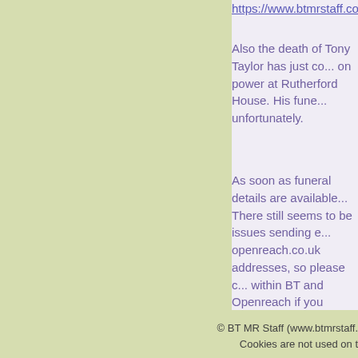https://www.btmrstaff.co.uk/notices1.php
Also the death of Tony Taylor has just co... on power at Rutherford House. His fune... unfortunately.
As soon as funeral details are available... There still seems to be issues sending e... openreach.co.uk addresses, so please c... within BT and Openreach if you receive...
Message dated: Wed 19
© BT MR Staff (www.btmrstaff. Cookies are not used on t